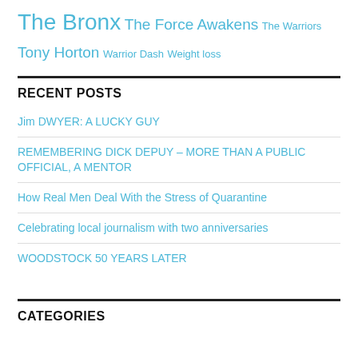The Bronx The Force Awakens The Warriors Tony Horton Warrior Dash Weight loss
RECENT POSTS
Jim DWYER: A LUCKY GUY
REMEMBERING DICK DEPUY – MORE THAN A PUBLIC OFFICIAL, A MENTOR
How Real Men Deal With the Stress of Quarantine
Celebrating local journalism with two anniversaries
WOODSTOCK 50 YEARS LATER
CATEGORIES